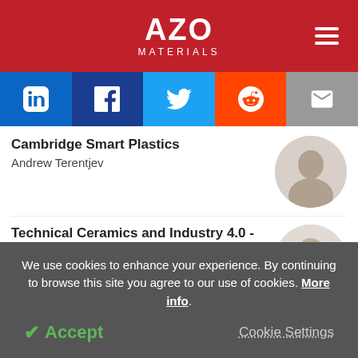[Figure (logo): AZO Materials website logo with red background and hamburger menu icon]
[Figure (infographic): Social sharing bar with LinkedIn, Facebook, Twitter, Reddit, and Email buttons]
Cambridge Smart Plastics
Andrew Terentjev
[Figure (photo): Circular portrait photo of Andrew Terentjev]
Technical Ceramics and Industry 4.0 - In Conversation with International Syalons
Ben Melrose
[Figure (photo): Circular portrait photo of Ben Melrose]
We use cookies to enhance your experience. By continuing to browse this site you agree to our use of cookies. More info.
✓ Accept
Cookie Settings